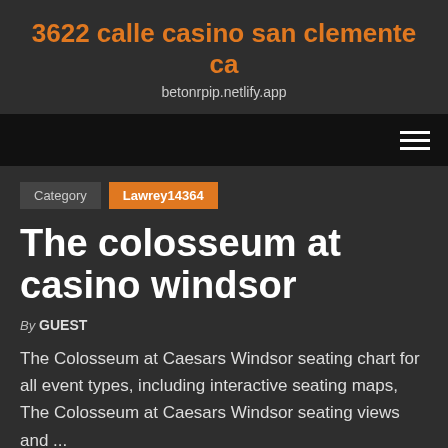3622 calle casino san clemente ca
betonrpip.netlify.app
Category  Lawrey14364
The colosseum at casino windsor
By GUEST
The Colosseum at Caesars Windsor seating chart for all event types, including interactive seating maps, The Colosseum at Caesars Windsor seating views and ...